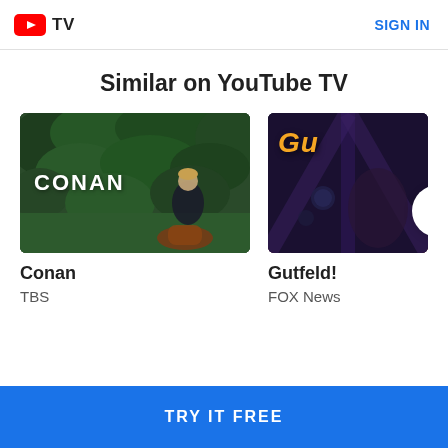YouTube TV — SIGN IN
Similar on YouTube TV
[Figure (screenshot): Thumbnail for Conan show on TBS — man seated in orange chair with green foliage background, white CONAN text overlay]
Conan
TBS
[Figure (screenshot): Partially visible thumbnail for Gutfeld! on FOX News — dark stage background with orange Gu... text, arrow circle navigation button overlay]
Gutfeld!
FOX News
TRY IT FREE